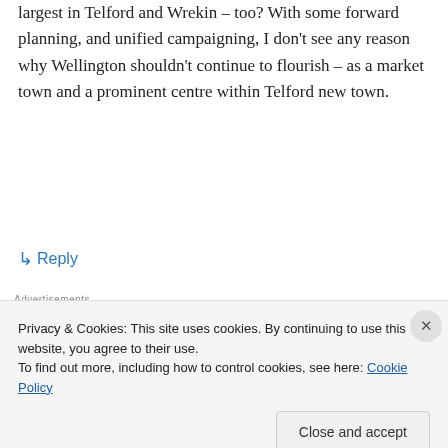largest in Telford and Wrekin – too? With some forward planning, and unified campaigning, I don't see any reason why Wellington shouldn't continue to flourish – as a market town and a prominent centre within Telford new town.
↳ Reply
[Figure (screenshot): Jetpack advertisement banner with green background showing Jetpack logo and 'Secure Your Site' button]
Privacy & Cookies: This site uses cookies. By continuing to use this website, you agree to their use.
To find out more, including how to control cookies, see here: Cookie Policy
Close and accept